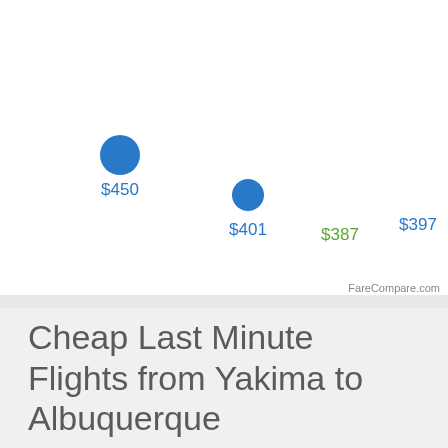[Figure (scatter-plot): Flight prices from Yakima to Albuquerque]
Cheap Last Minute Flights from Yakima to Albuquerque